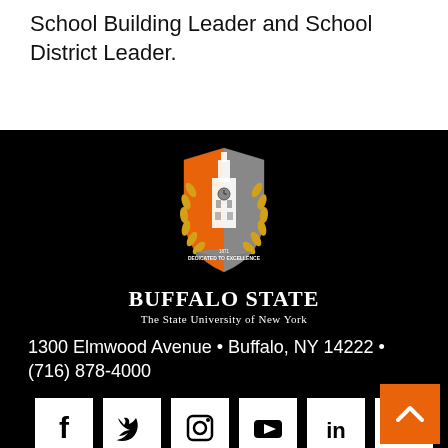School Building Leader and School District Leader.
[Figure (logo): Buffalo State University crest/shield logo with orange and grey coloring, laurel wreath, clock tower, and text 'Dedicated to Excellence 1871'. Below the shield: BUFFALO STATE / The State University of New York]
1300 Elmwood Avenue • Buffalo, NY 14222 • (716) 878-4000
[Figure (other): Social media icons row: Facebook, Twitter, Instagram, YouTube, LinkedIn, Tumblr — white icons on white square backgrounds]
[Figure (other): Orange back-to-top button with upward chevron arrow in bottom right corner]